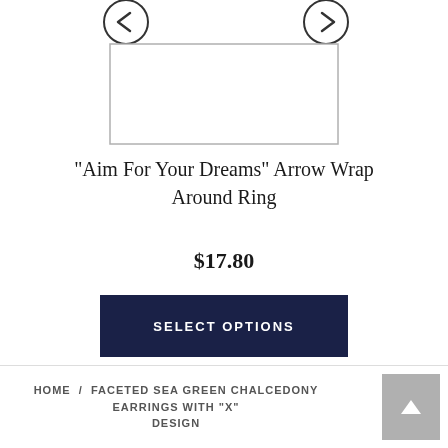[Figure (screenshot): Product image carousel area with left and right navigation arrows and a white rectangular image placeholder with border]
"Aim For Your Dreams" Arrow Wrap Around Ring
$17.80
SELECT OPTIONS
HOME / FACETED SEA GREEN CHALCEDONY EARRINGS WITH "X" DESIGN